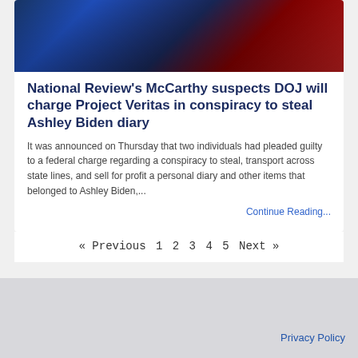[Figure (photo): A man in a dark suit with a blue tie seated in front of an American flag]
National Review's McCarthy suspects DOJ will charge Project Veritas in conspiracy to steal Ashley Biden diary
It was announced on Thursday that two individuals had pleaded guilty to a federal charge regarding a conspiracy to steal, transport across state lines, and sell for profit a personal diary and other items that belonged to Ashley Biden,...
Continue Reading...
« Previous 1 2 3 4 5 Next »
Privacy Policy